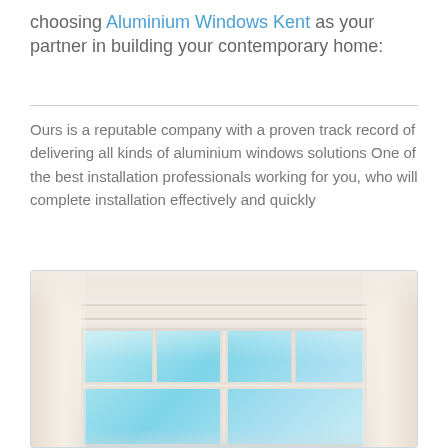choosing Aluminium Windows Kent as your partner in building your contemporary home:
Ours is a reputable company with a proven track record of delivering all kinds of aluminium windows solutions One of the best installation professionals working for you, who will complete installation effectively and quickly
[Figure (photo): Photo of a bright interior window with white curtains on both sides and blue sky visible through the glass panes, framed in white/cream molding]